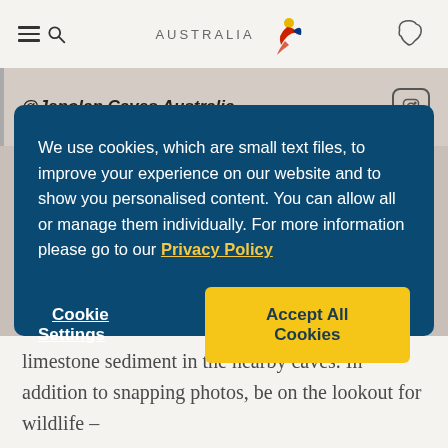[Figure (screenshot): Tourism Australia website header with hamburger menu, search icon, Australia logo with bird, and Australia map outline icon]
@Jenolan Caves Australia
We use cookies, which are small text files, to improve your experience on our website and to show you personalised content. You can allow all or manage them individually. For more information please go to our Privacy Policy
Cookie Settings
Accept All Cookies
limestone sediment in the nearby caves. In addition to snapping photos, be on the lookout for wildlife –